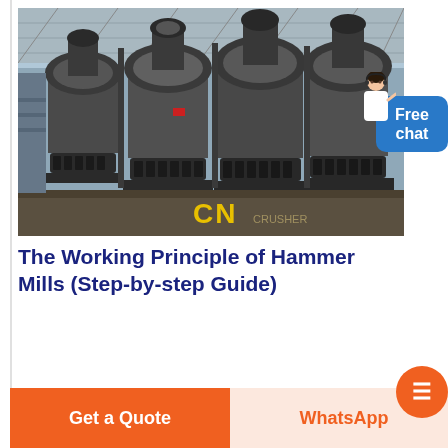[Figure (photo): Industrial hammer mill machines in a factory setting. Multiple large cylindrical crushing/milling machines with spring bases visible. Yellow 'CN' branding text on the equipment. Industrial warehouse background with steel roof structure.]
The Working Principle of Hammer Mills (Step-by-step Guide)